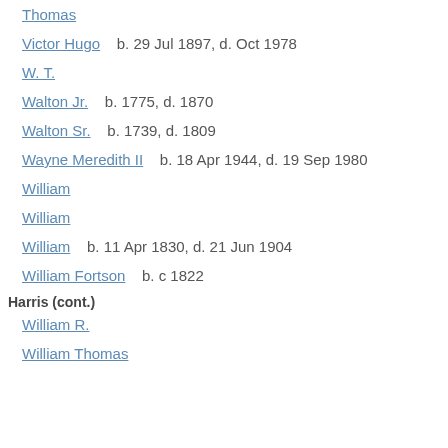Thomas
Victor Hugo    b. 29 Jul 1897, d. Oct 1978
W. T.
Walton Jr.    b. 1775, d. 1870
Walton Sr.    b. 1739, d. 1809
Wayne Meredith II    b. 18 Apr 1944, d. 19 Sep 1980
William
William
William    b. 11 Apr 1830, d. 21 Jun 1904
William Fortson    b. c 1822
Harris (cont.)
William R.
William Thomas